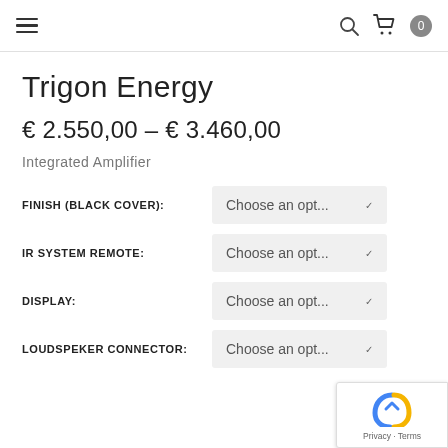Navigation bar with hamburger menu, search icon, cart icon, and badge showing 0
Trigon Energy
€ 2.550,00 – € 3.460,00
Integrated Amplifier
FINISH (BLACK COVER): Choose an opt...
IR SYSTEM REMOTE: Choose an opt...
DISPLAY: Choose an opt...
LOUDSPEKER CONNECTOR: Choose an opt...